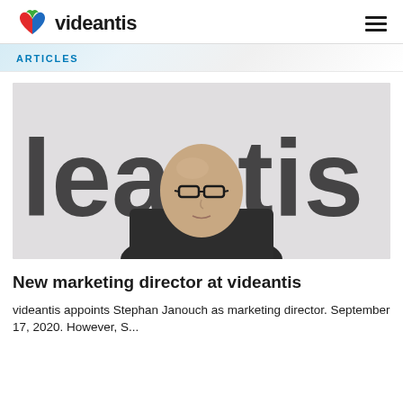videantis
ARTICLES
[Figure (photo): Man with glasses and shaved head wearing a dark shirt, standing in front of a wall with large 'videantis' lettering]
New marketing director at videantis
videantis appoints Stephan Janouch as marketing director. September 17, 2020. However, S...